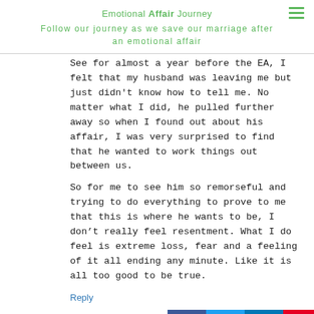Emotional Affair Journey
Follow our journey as we save our marriage after an emotional affair
See for almost a year before the EA, I felt that my husband was leaving me but just didn't know how to tell me. No matter what I did, he pulled further away so when I found out about his affair, I was very surprised to find that he wanted to work things out between us.
So for me to see him so remorseful and trying to do everything to prove to me that this is where he wants to be, I don't really feel resentment. What I do feel is extreme loss, fear and a feeling of it all ending any minute. Like it is all too good to be true.
Reply
[Figure (infographic): Social media share buttons: Facebook (blue), Twitter (light blue), LinkedIn (dark blue), Pinterest (red)]
Natalia
July 20, 2012